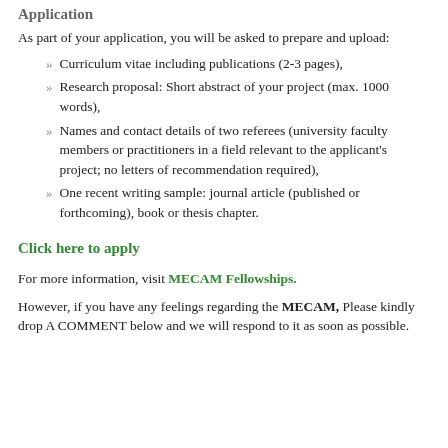Application
As part of your application, you will be asked to prepare and upload:
Curriculum vitae including publications (2-3 pages),
Research proposal: Short abstract of your project (max. 1000 words),
Names and contact details of two referees (university faculty members or practitioners in a field relevant to the applicant's project; no letters of recommendation required),
One recent writing sample: journal article (published or forthcoming), book or thesis chapter.
Click here to apply
For more information, visit MECAM Fellowships.
However, if you have any feelings regarding the MECAM, Please kindly drop A COMMENT below and we will respond to it as soon as possible.